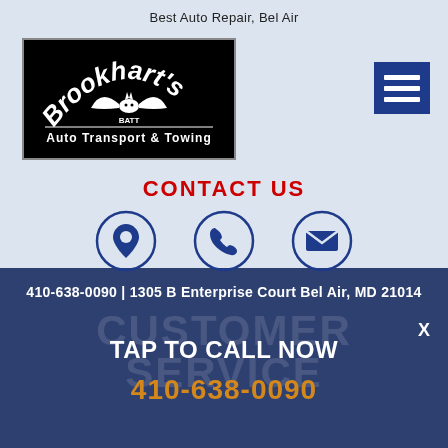Best Auto Repair, Bel Air
[Figure (logo): Brookhart's Auto Transport & Towing logo — white text on black background with bat graphic]
[Figure (infographic): Hamburger menu button — blue square with three white horizontal bars]
CONTACT US
[Figure (infographic): Three circular icons: location pin, phone, envelope — navy blue outlined circles with navy icons inside]
410-638-0090 | 1305 B Enterprise Court Bel Air, MD 21014
CUSTOMER SERVICE
TAP TO CALL NOW
410-638-0090